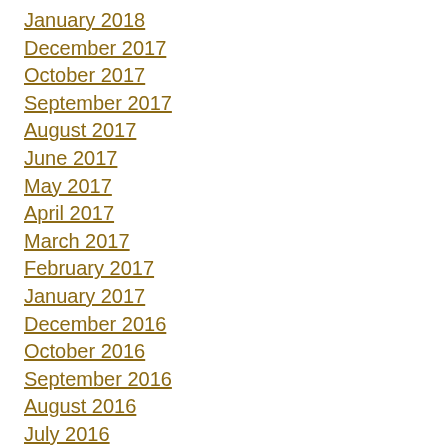January 2018
December 2017
October 2017
September 2017
August 2017
June 2017
May 2017
April 2017
March 2017
February 2017
January 2017
December 2016
October 2016
September 2016
August 2016
July 2016
June 2016
May 2016
April 2016